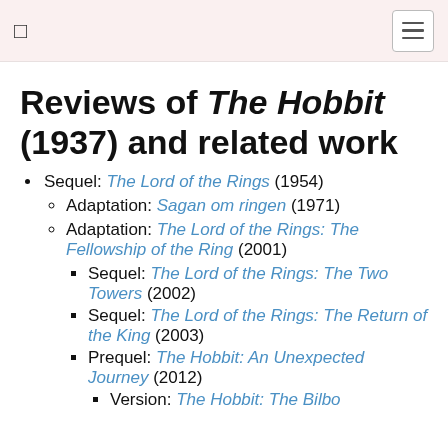☐  ☰
Reviews of The Hobbit (1937) and related work
Sequel: The Lord of the Rings (1954)
Adaptation: Sagan om ringen (1971)
Adaptation: The Lord of the Rings: The Fellowship of the Ring (2001)
Sequel: The Lord of the Rings: The Two Towers (2002)
Sequel: The Lord of the Rings: The Return of the King (2003)
Prequel: The Hobbit: An Unexpected Journey (2012)
Version: The Hobbit: The Bilbo